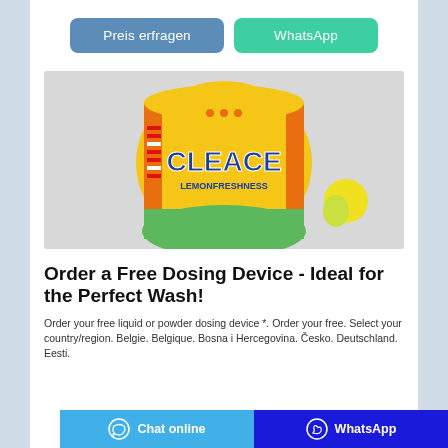[Figure (other): Two call-to-action buttons: 'Preis erfragen' (blue) and 'WhatsApp' (green)]
[Figure (photo): Product photo of a yellow and orange bag of 'Cleace Lemonfreshness' laundry detergent powder on a grey background]
Order a Free Dosing Device - Ideal for the Perfect Wash!
Order your free liquid or powder dosing device *. Order your free. Select your country/region. Belgie. Belgique. Bosna i Hercegovina. Česko. Deutschland. Eesti.
Chat online   WhatsApp